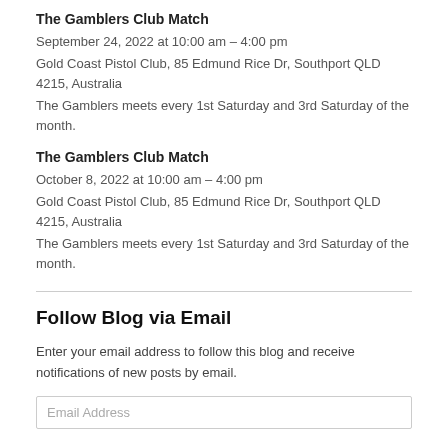The Gamblers Club Match
September 24, 2022 at 10:00 am – 4:00 pm
Gold Coast Pistol Club, 85 Edmund Rice Dr, Southport QLD 4215, Australia
The Gamblers meets every 1st Saturday and 3rd Saturday of the month.
The Gamblers Club Match
October 8, 2022 at 10:00 am – 4:00 pm
Gold Coast Pistol Club, 85 Edmund Rice Dr, Southport QLD 4215, Australia
The Gamblers meets every 1st Saturday and 3rd Saturday of the month.
Follow Blog via Email
Enter your email address to follow this blog and receive notifications of new posts by email.
Email Address